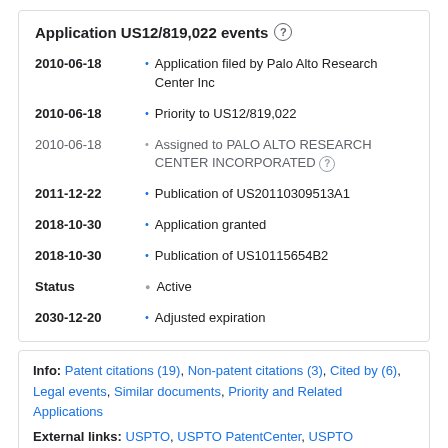Application US12/819,022 events
2010-06-18 • Application filed by Palo Alto Research Center Inc
2010-06-18 • Priority to US12/819,022
2010-06-18 • Assigned to PALO ALTO RESEARCH CENTER INCORPORATED
2011-12-22 • Publication of US20110309513A1
2018-10-30 • Application granted
2018-10-30 • Publication of US10115654B2
Status • Active
2030-12-20 • Adjusted expiration
Info: Patent citations (19), Non-patent citations (3), Cited by (6), Legal events, Similar documents, Priority and Related Applications
External links: USPTO, USPTO PatentCenter, USPTO Assignment, Espacenet, Global Dossier, Discuss
Abstract